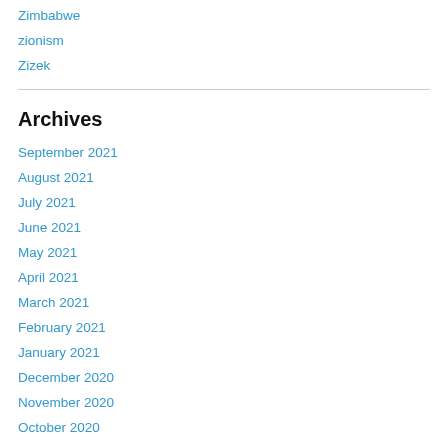Zimbabwe
zionism
Zizek
Archives
September 2021
August 2021
July 2021
June 2021
May 2021
April 2021
March 2021
February 2021
January 2021
December 2020
November 2020
October 2020
September 2020